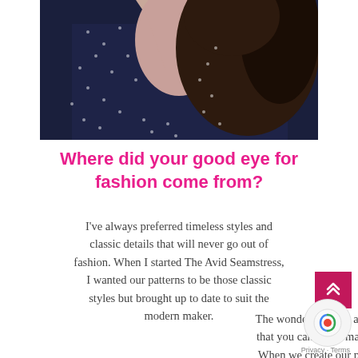[Figure (photo): Close-up photo of a woman wearing a navy blue wrap dress with white floral/dot pattern, with dark curly hair visible]
Where did your good eye for fashion come from?
I've always preferred timeless styles and classic details that will never go out of fashion. When I started The Avid Seamstress, I wanted our patterns to be those classic styles but brought up to date to suit the modern maker.
The wonderful thing about sewing, though, that you can really make a pattern your ow... When we create our patterns, versatility is